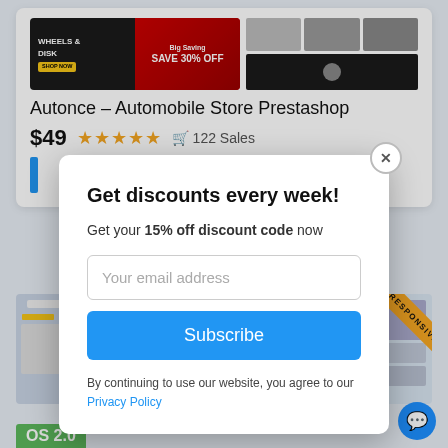[Figure (screenshot): Autonce automobile store Prestashop product listing page screenshot showing car-themed banner images]
Autonce – Automobile Store Prestashop
$49  ★★★★★  122 Sales
[Figure (screenshot): Modal popup overlay with discount subscription form]
Get discounts every week!
Get your 15% off discount code now
Your email address
Subscribe
By continuing to use our website, you agree to our Privacy Policy
[Figure (screenshot): Bottom row of theme previews including responsive badge screenshot and additional product thumbnails]
OS 2.0